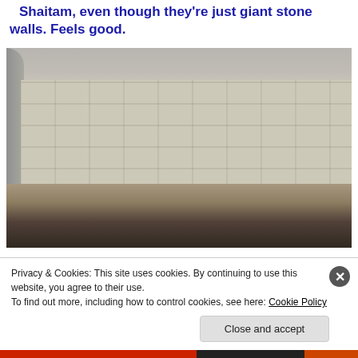Shaitam, even though they're just giant stone walls. Feels good.
[Figure (photo): People in white robes and dark clothing walking alongside a large stone-tiled wall inside what appears to be the Jamarat complex in Mecca]
Privacy & Cookies: This site uses cookies. By continuing to use this website, you agree to their use.
To find out more, including how to control cookies, see here: Cookie Policy
Close and accept